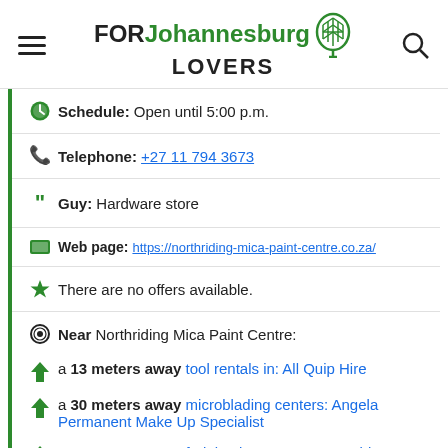FOR Johannesburg LOVERS
Schedule: Open until 5:00 p.m.
Telephone: +27 11 794 3673
Guy: Hardware store
Web page: https://northriding-mica-paint-centre.co.za/
There are no offers available.
Near Northriding Mica Paint Centre:
a 13 meters away tool rentals in: All Quip Hire
a 30 meters away microblading centers: Angela Permanent Make Up Specialist
a 67 meters away fruit baskets: Hamper World
Are you the owner of the business? PROMOTE IT!